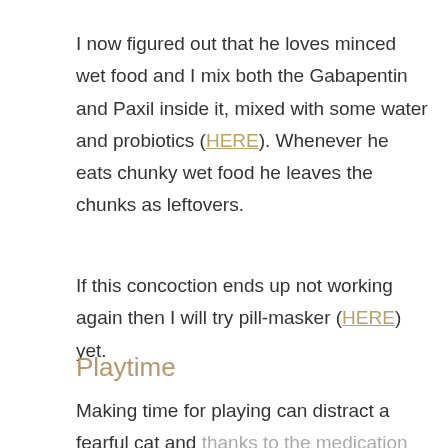I now figured out that he loves minced wet food and I mix both the Gabapentin and Paxil inside it, mixed with some water and probiotics (HERE). Whenever he eats chunky wet food he leaves the chunks as leftovers.
If this concoction ends up not working again then I will try pill-masker (HERE) yet.
Playtime
Making time for playing can distract a fearful cat and thanks to the medication Anthony has started to slowly play with other toys for short periods of time. I